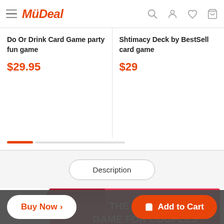MyDeal
Do Or Drink Card Game party fun game
$29.95
Shtimacy Deck by BestSell card game
$29
Description
[Figure (photo): Red box packaging for 'The Ultimate Game for Couples' card game, showing emoji faces and descriptive text on the front.]
Buy Now >
Add to Cart